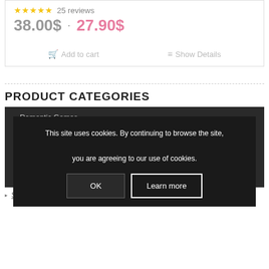38.00$ · 27.90$
Add to cart  Show Details
PRODUCT CATEGORIES
Romantic Games
Sex Board Games
Sex Toy Storage Boxes
Massage Candles
Printable Sex Board Games
[Figure (screenshot): Cookie consent overlay with text: This site uses cookies. By continuing to browse the site, you are agreeing to our use of cookies. Buttons: OK and Learn more]
Scratch off Cards